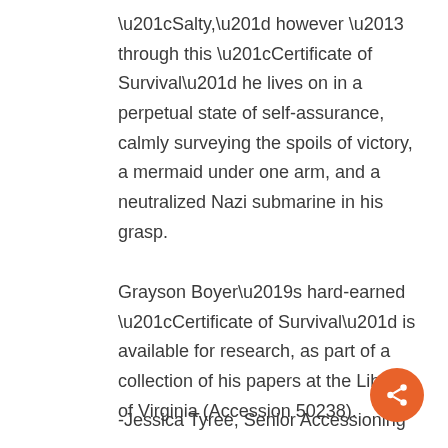“Salty,” however – through this “Certificate of Survival” he lives on in a perpetual state of self-assurance, calmly surveying the spoils of victory, a mermaid under one arm, and a neutralized Nazi submarine in his grasp.
Grayson Boyer’s hard-earned “Certificate of Survival” is available for research, as part of a collection of his papers at the Library of Virginia (Accession 50238).
-Jessica Tyree, Senior Accessioning
[Figure (other): Orange circular share button with a network/share icon in white]